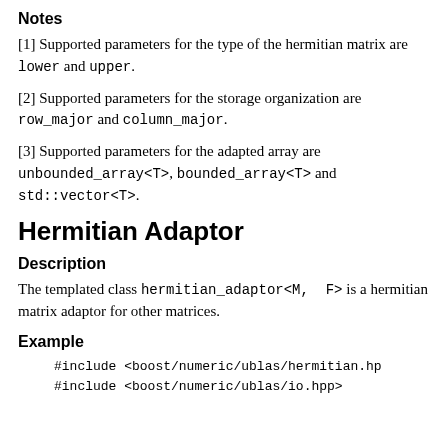Notes
[1] Supported parameters for the type of the hermitian matrix are lower and upper.
[2] Supported parameters for the storage organization are row_major and column_major.
[3] Supported parameters for the adapted array are unbounded_array<T>, bounded_array<T> and std::vector<T>.
Hermitian Adaptor
Description
The templated class hermitian_adaptor<M, F> is a hermitian matrix adaptor for other matrices.
Example
#include <boost/numeric/ublas/hermitian.hp
#include <boost/numeric/ublas/io.hpp>